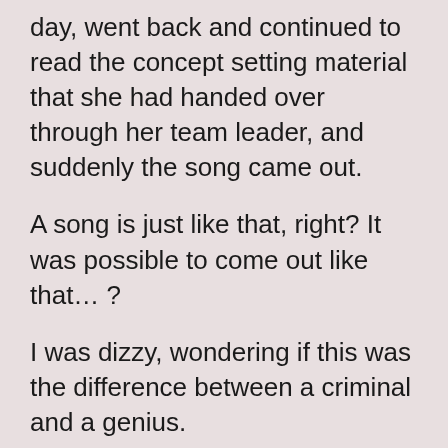day, went back and continued to read the concept setting material that she had handed over through her team leader, and suddenly the song came out.
A song is just like that, right? It was possible to come out like that… ?
I was dizzy, wondering if this was the difference between a criminal and a genius.
When we heard about it, we all jumped up and ran around together, asking if this was real.
'The title song has been created.'
The morning of turning the song came in his bi...